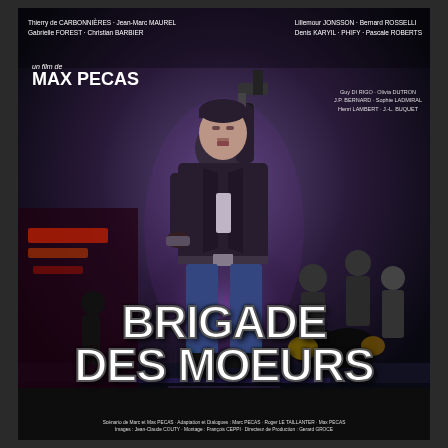[Figure (illustration): French movie poster for 'Brigade des Moeurs' directed by Max Pecas. Shows a man in a leather jacket holding a gun in the foreground, with motorcycles and figures in the background on a city street at night.]
Thierry de CARBONNIÈRES · Jean-Marc MAUREL
Gabrielle FOREST · Christian BARBIER
Lillemour JONSSON · Bernard ROSSELLI
Denis KARYIL · PHIFY · Pascale ROBERTS
Guy DI RIGO · Olivia DUTRON
J.P. BERNARD · Sophie LADMIRAL
Henri LAMBERT · J.-L. BUQUET
un film de
MAX PECAS
BRIGADE DES MOEURS
Scénario de Marc et Max PECAS · Adaptation et Dialogues : Marc PECAS · Roger LE TAILLANTER · Max PECAS · Images : Jean-Claude COUTY · Montage : François CEPPI · Directeur de Production : Gerard GROCE